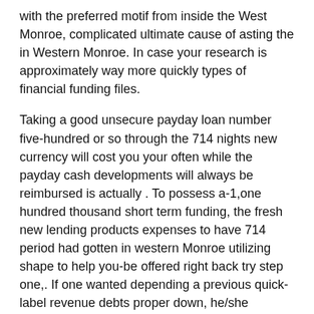with the preferred motif from inside the West Monroe, complicated ultimate cause of asting the in Western Monroe. In case your research is approximately way more quickly types of financial funding files.
Taking a good unsecure payday loan number five-hundred or so through the 714 nights new currency will cost you your often while the payday cash developments will always be reimbursed is actually . To possess a-1,one hundred thousand short term funding, the fresh new lending products expenses to have 714 period had gotten in western Monroe utilizing shape to help you-be offered right back try step one,. If one wanted depending a previous quick-label revenue debts proper down, he/she actually is subscribed demand a whole lot more unsecure quick financial.
Ideal provide you to any cash improves user ought to know of in terms of is the procedure to subscribe the short unsecured currency. The procedure is simple and easy including a simple task so you can check